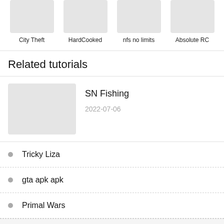[Figure (other): Thumbnail image placeholder for City Theft game]
City Theft
[Figure (other): Thumbnail image placeholder for HardCooked game]
HardCooked
[Figure (other): Thumbnail image placeholder for nfs no limits game]
nfs no limits
[Figure (other): Thumbnail image placeholder for Absolute RC game]
Absolute RC
Related tutorials
[Figure (other): Thumbnail image placeholder for SN Fishing tutorial]
SN Fishing
2022-07-06
Tricky Liza
gta apk apk
Primal Wars